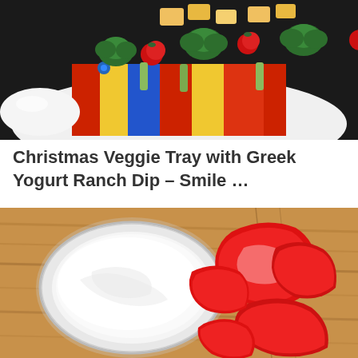[Figure (photo): A Christmas veggie tray with broccoli, cherry tomatoes, cheese cubes, and cucumber arranged on colorful Christmas gift-themed plates and wrapping paper.]
Christmas Veggie Tray with Greek Yogurt Ranch Dip – Smile …
[Figure (photo): A clear bowl of white Greek yogurt ranch dip next to sliced red bell peppers on a wooden cutting board.]